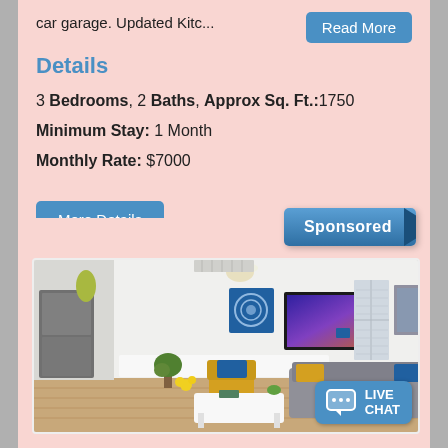car garage. Updated Kitc...
Details
3 Bedrooms, 2 Baths, Approx Sq. Ft.:1750
Minimum Stay: 1 Month
Monthly Rate: $7000
[Figure (photo): Interior photo of a modern furnished living room with white walls, hardwood floors, a gray sofa with yellow and blue pillows, a yellow armchair with blue pillow, white coffee table, TV on wall, artwork on walls, ceiling light fixture, and plants.]
Sponsored